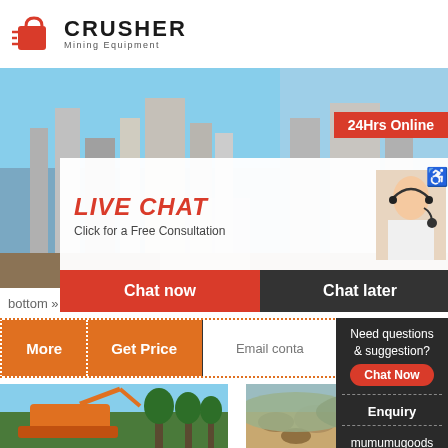[Figure (logo): Crusher Mining Equipment logo with red shopping bag icon and bold CRUSHER text]
[Figure (photo): Industrial mining/construction facility with large structures and yellow-jacketed workers]
[Figure (photo): Live chat popup overlay with worker image, LIVE CHAT title, 'Click for a Free Consultation' text, Chat now and Chat later buttons]
[Figure (photo): Female customer service representative wearing headset on right side of live chat panel]
24Hrs Online
LIVE CHAT
Click for a Free Consultation
Chat now
Chat later
bottom » Le
More
Get Price
Email conta
Need questions & suggestion?
Chat Now
Enquiry
mumumugoods @gmail.com
[Figure (photo): Orange excavator/construction machine in green landscape]
[Figure (photo): Gravel/aggregate material pile outdoor]